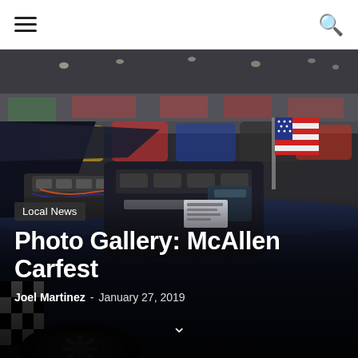≡  🔍
[Figure (photo): Indoor car show with multiple vehicles displayed with hoods open, including a prominent dark blue sports car in foreground with its engine compartment visible, American flags in background, large convention hall setting.]
Local News
Photo Gallery: McAllen Carfest
Joel Martinez  -  January 27, 2019